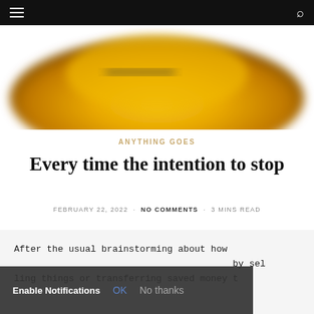≡  [search icon]
[Figure (photo): Blurred yellow object, partially cropped, on a white background]
ANYTHING GOES
Every time the intention to stop
FEBRUARY 22, 2022 · NO COMMENTS · 3 MINS READ
After the usual brainstorming about how ... by sel ling things or transferring saved money t
Enable Notifications OK No thanks